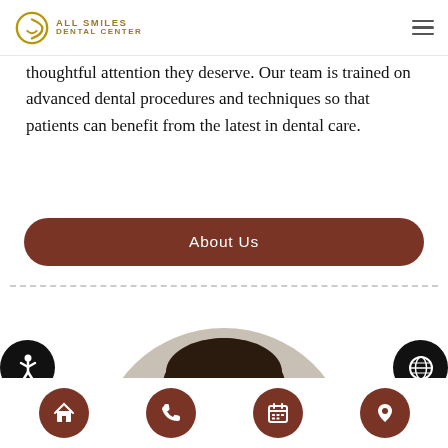ALL SMILES DENTAL CENTER
thoughtful attention they deserve. Our team is trained on advanced dental procedures and techniques so that patients can benefit from the latest in dental care.
About Us
[Figure (photo): Portrait photo of a person with dark hair against a light gray circular background, cropped at the bottom of the page]
Home | Phone | Calendar | Location navigation icons